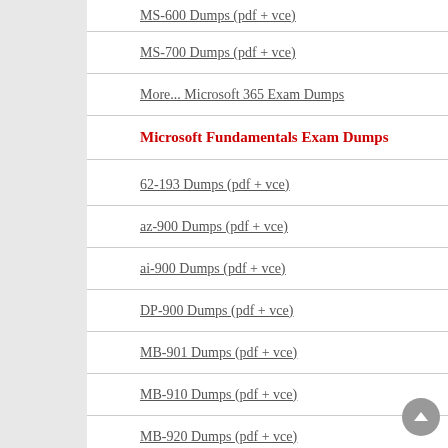MS-600 Dumps (pdf + vce)
MS-700 Dumps (pdf + vce)
More... Microsoft 365 Exam Dumps
Microsoft Fundamentals Exam Dumps
62-193 Dumps (pdf + vce)
az-900 Dumps (pdf + vce)
ai-900 Dumps (pdf + vce)
DP-900 Dumps (pdf + vce)
MB-901 Dumps (pdf + vce)
MB-910 Dumps (pdf + vce)
MB-920 Dumps (pdf + vce)
pl-900 Dumps (pdf + vce)
MS-900 Dumps (pdf + vce)